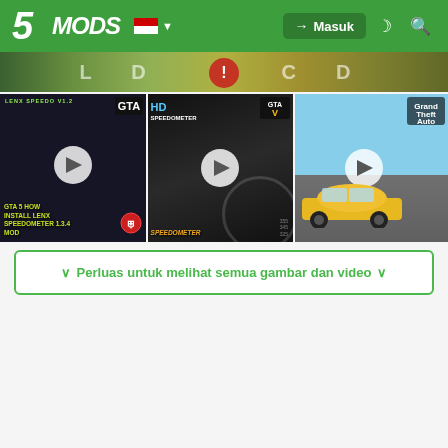5MODS — Masuk
[Figure (screenshot): Partial top strip showing speedometer/game imagery with text overlay showing speed indicators]
[Figure (screenshot): Three video thumbnails: (1) GTA 5 HOW TO INSTALL LENX SPEEDOMETER 1.3.4 MOD, (2) HD Speedometer GTA mod video, (3) GTA V car gameplay screenshot]
Perluas untuk melihat semua gambar dan video